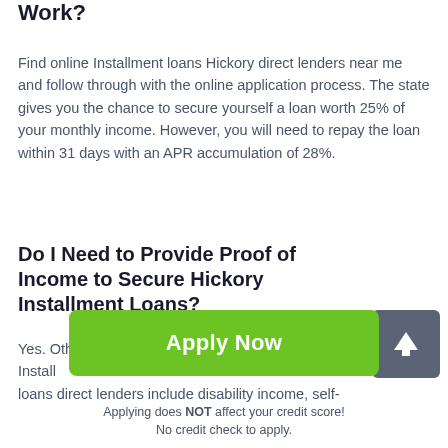Work?
Find online Installment loans Hickory direct lenders near me and follow through with the online application process. The state gives you the chance to secure yourself a loan worth 25% of your monthly income. However, you will need to repay the loan within 31 days with an APR accumulation of 28%.
Do I Need to Provide Proof of Income to Secure Hickory Installment Loans?
Yes. Other forms of income allowed by Hickory Installment loans direct lenders include disability income, self-
[Figure (illustration): Dark gray square button with white upward arrow icon (scroll to top button)]
Apply Now
Applying does NOT affect your credit score!
No credit check to apply.